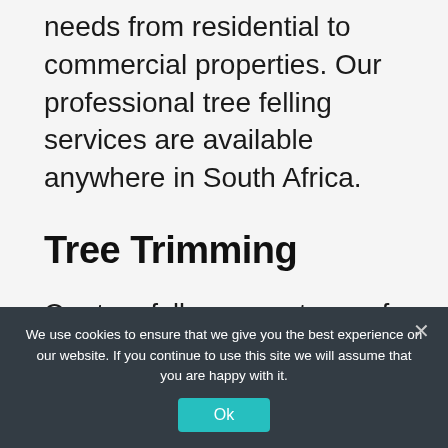needs from residential to commercial properties. Our professional tree felling services are available anywhere in South Africa.
Tree Trimming
Our tree fellers are a team of experts in the Tree Trimming industry. We trim trees around the neighbourhood, and we do it well. We have been trimming trees for many years, and we
[Figure (infographic): WhatsApp CTA button with green circle phone icon and yellow rounded rectangle with text 'GET your QUOTE now!' and 'WhatsApp Message Us']
We use cookies to ensure that we give you the best experience on our website. If you continue to use this site we will assume that you are happy with it.